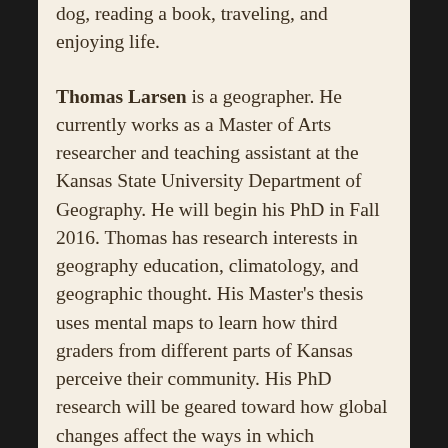dog, reading a book, traveling, and enjoying life.
Thomas Larsen is a geographer. He currently works as a Master of Arts researcher and teaching assistant at the Kansas State University Department of Geography. He will begin his PhD in Fall 2016. Thomas has research interests in geography education, climatology, and geographic thought. His Master's thesis uses mental maps to learn how third graders from different parts of Kansas perceive their community. His PhD research will be geared toward how global changes affect the ways in which geographers think about the human-environmental systems of the world. Additionally, he has collaborated with a team of geographers and animal scientists to understand how climate change will affect livestock stress in Turkey and the Central United States. Thomas volunteers regularly for the Kansas Geographic Alliance advocating for geography education in the U.S. education system. On his spare time, he enjoys "daycations" to places around Kansas and Missouri, kayaking, rock climbing, and going to